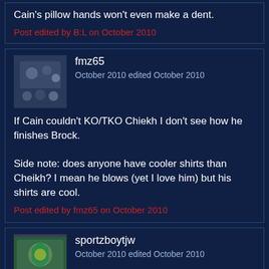Cain's pillow hands won't even make a dent.
Post edited by B:L on October 2010
fmz65
October 2010 edited October 2010
If Cain couldn't KO/TKO Chiekh I don't see how he finishes Brock.

Side note: does anyone have cooler shirts than Cheikh? I mean he blows (yet I love him) but his shirts are cool.
Post edited by fmz65 on October 2010
sportzboytjw
October 2010 edited October 2010
B:L wrote: »
show previous quotes
Cain's pillow hands won't even make a dent.